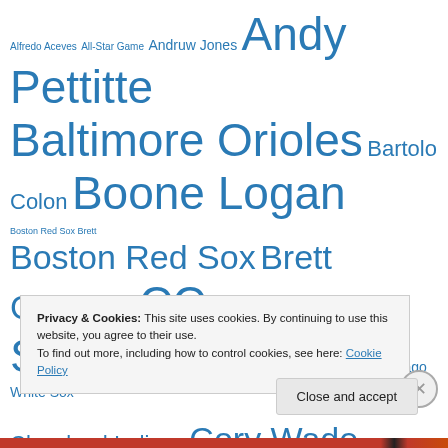Alfredo Aceves All-Star Game Andruw Jones Andy Pettitte Baltimore Orioles Bartolo Colon Boone Logan Boston Red Sox Brett Gardner CC Sabathia Chad Gaudin Chan Ho Park Chicago White Sox Cleveland Indians Cory Wade Current Standings Curtis Granderson Damaso Marte David Phelps David Robertson Derek Jeter Detroit Tigers Dustin
Privacy & Cookies: This site uses cookies. By continuing to use this website, you agree to their use. To find out more, including how to control cookies, see here: Cookie Policy
Close and accept